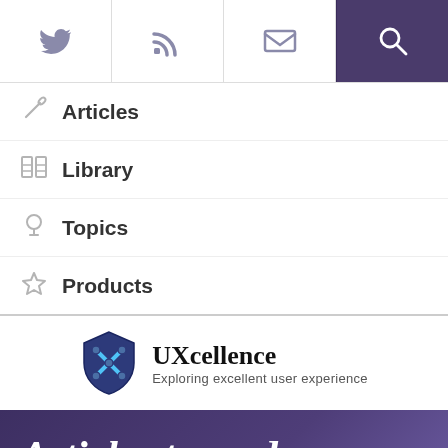Navigation bar with Twitter, RSS, Email, and Search icons
Articles
Library
Topics
Products
[Figure (logo): UXcellence shield logo with X mark]
UXcellence
Exploring excellent user experience
Articles tagged 'analytics'